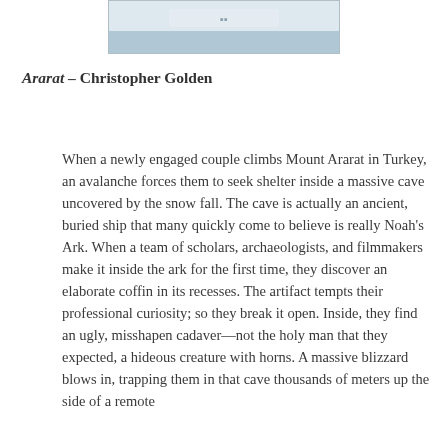[Figure (photo): Partial view of a snowy mountain or winter landscape photo, cropped at top of page]
Ararat – Christopher Golden
When a newly engaged couple climbs Mount Ararat in Turkey, an avalanche forces them to seek shelter inside a massive cave uncovered by the snow fall. The cave is actually an ancient, buried ship that many quickly come to believe is really Noah's Ark. When a team of scholars, archaeologists, and filmmakers make it inside the ark for the first time, they discover an elaborate coffin in its recesses. The artifact tempts their professional curiosity; so they break it open. Inside, they find an ugly, misshapen cadaver—not the holy man that they expected, a hideous creature with horns. A massive blizzard blows in, trapping them in that cave thousands of meters up the side of a remote